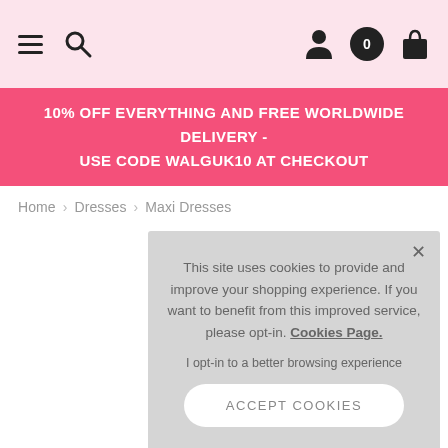Navigation bar with hamburger menu, search, user account, notifications (0), and shopping bag icons
10% OFF EVERYTHING AND FREE WORLDWIDE DELIVERY - USE CODE WALGUK10 AT CHECKOUT
Home › Dresses › Maxi Dresses
This site uses cookies to provide and improve your shopping experience. If you want to benefit from this improved service, please opt-in. Cookies Page.

I opt-in to a better browsing experience

ACCEPT COOKIES